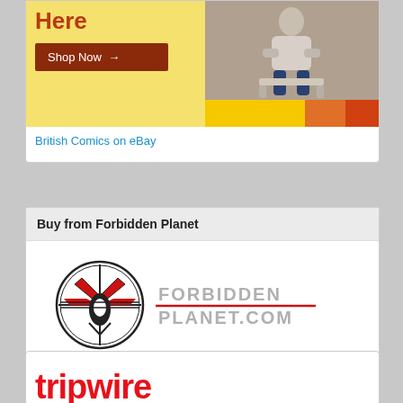[Figure (illustration): eBay advertisement banner showing 'Here' in red text on yellow background, a 'Shop Now →' button in dark red, and a photo of a person sitting. Color bar at bottom with yellow, orange and red sections.]
British Comics on eBay
Buy from Forbidden Planet
[Figure (logo): Forbidden Planet logo: circular compass/navigator icon in black and red, with 'FORBIDDENPLANET.COM' text in grey futuristic font to the right.]
[Figure (logo): Tripwire logo in bold red text, partially cropped at bottom of page.]